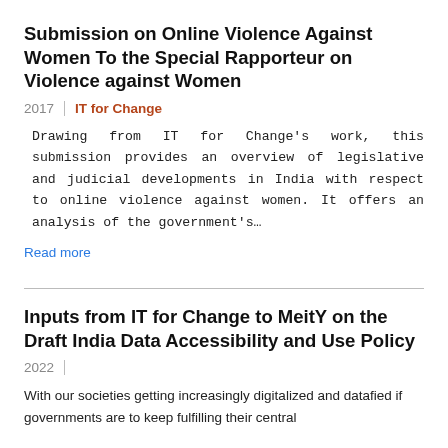Submission on Online Violence Against Women To the Special Rapporteur on Violence against Women
2017 | IT for Change
Drawing from IT for Change's work, this submission provides an overview of legislative and judicial developments in India with respect to online violence against women. It offers an analysis of the government's…
Read more
Inputs from IT for Change to MeitY on the Draft India Data Accessibility and Use Policy
2022 |
With our societies getting increasingly digitalized and datafied if governments are to keep fulfilling their central